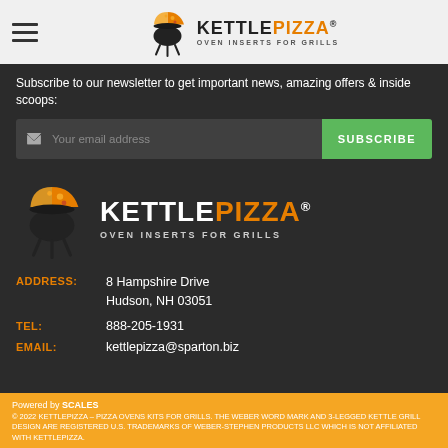[Figure (logo): KettlePizza logo with pizza slice icon and text 'KETTLEPIZZA® OVEN INSERTS FOR GRILLS' in header bar]
Subscribe to our newsletter to get important news, amazing offers & inside scoops:
[Figure (other): Email subscription input field with send icon and green SUBSCRIBE button]
[Figure (logo): Large KettlePizza logo with pizza/grill icon and text 'KETTLEPIZZA® OVEN INSERTS FOR GRILLS']
ADDRESS: 8 Hampshire Drive Hudson, NH 03051
TEL: 888-205-1931
EMAIL: kettlepizza@sparton.biz
Powered by SCALES © 2022 KETTLEPIZZA – PIZZA OVENS KITS FOR GRILLS. THE WEBER WORD MARK AND 3-LEGGED KETTLE GRILL DESIGN ARE REGISTERED U.S. TRADEMARKS OF WEBER-STEPHEN PRODUCTS LLC WHICH IS NOT AFFILIATED WITH KETTLEPIZZA.